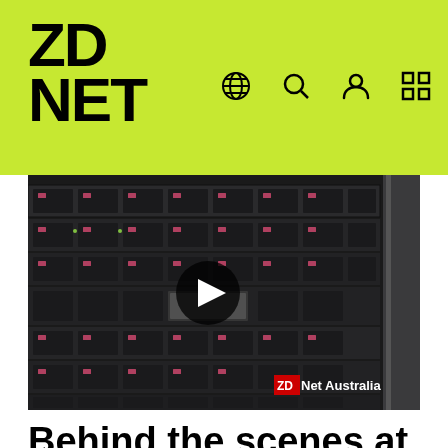ZD NET
[Figure (screenshot): Video thumbnail showing server rack blades in a data center, with a play button overlay in the center and a 'ZDNet Australia' watermark in the bottom-right corner.]
Behind the scenes at Tech.Ed
July 05, 2012